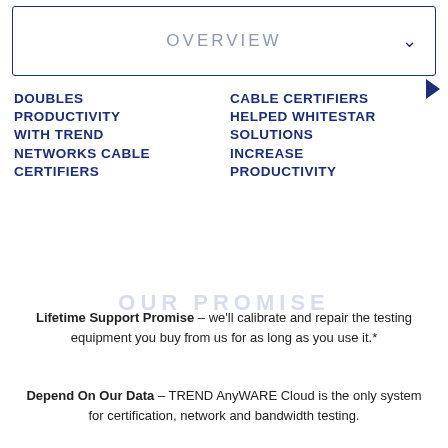OVERVIEW
DOUBLES PRODUCTIVITY WITH TREND NETWORKS CABLE CERTIFIERS
CABLE CERTIFIERS HELPED WHITESTAR SOLUTIONS INCREASE PRODUCTIVITY
OUR PROMISE
Lifetime Support Promise – we'll calibrate and repair the testing equipment you buy from us for as long as you use it.*
Depend On Our Data – TREND AnyWARE Cloud is the only system for certification, network and bandwidth testing.